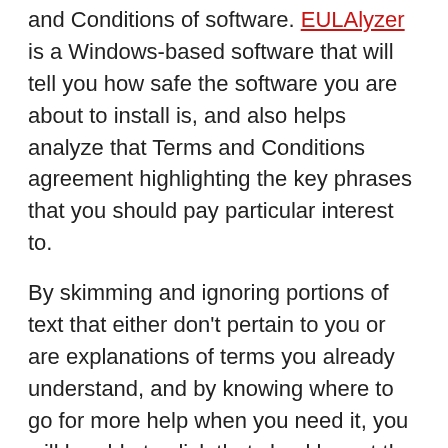and Conditions of software. EULAlyzer is a Windows-based software that will tell you how safe the software you are about to install is, and also helps analyze that Terms and Conditions agreement highlighting the key phrases that you should pay particular interest to.
By skimming and ignoring portions of text that either don't pertain to you or are explanations of terms you already understand, and by knowing where to go for more help when you need it, you will be able to click that checkbox at the end with much more confidence. You can change hours of boring reading into minutes of skimming, skipping, and double-checking.